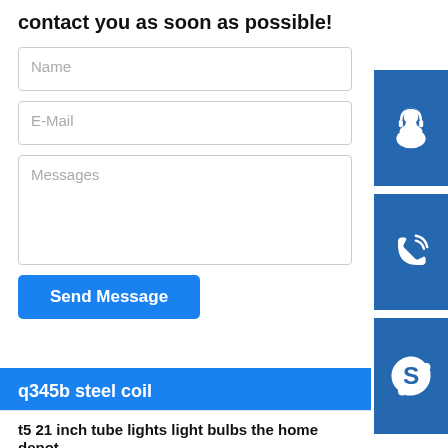contact you as soon as possible!
Name
E-Mail
Messages
Send Message
[Figure (illustration): Three blue square icon buttons on the right sidebar: customer support/headset icon, phone icon, and Skype icon]
q345b steel coil
t5 21 inch tube lights light bulbs the home depot
Plasma welding
steel hbeam q235 q345 ss400 material h beam